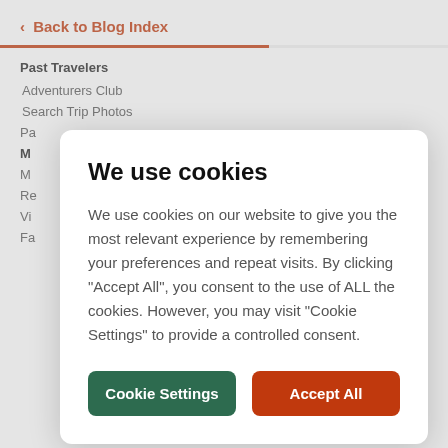< Back to Blog Index
Past Travelers
Adventurers Club
Search Trip Photos
Pa...
M...
M...
Re...
Vi...
Fa...
We use cookies
We use cookies on our website to give you the most relevant experience by remembering your preferences and repeat visits. By clicking "Accept All", you consent to the use of ALL the cookies. However, you may visit "Cookie Settings" to provide a controlled consent.
Cookie Settings
Accept All